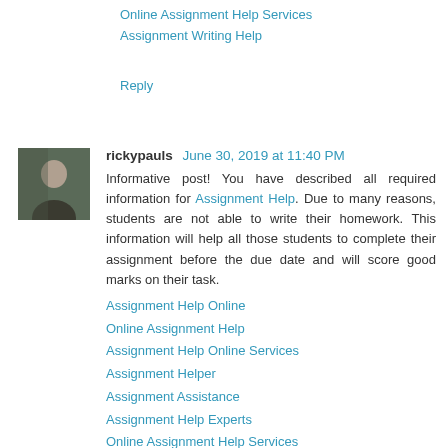Online Assignment Help Services
Assignment Writing Help
Reply
rickypauls June 30, 2019 at 11:40 PM
Informative post! You have described all required information for Assignment Help. Due to many reasons, students are not able to write their homework. This information will help all those students to complete their assignment before the due date and will score good marks on their task.
Assignment Help Online
Online Assignment Help
Assignment Help Online Services
Assignment Helper
Assignment Assistance
Assignment Help Experts
Online Assignment Help Services
Assignment Writing Help
Reply